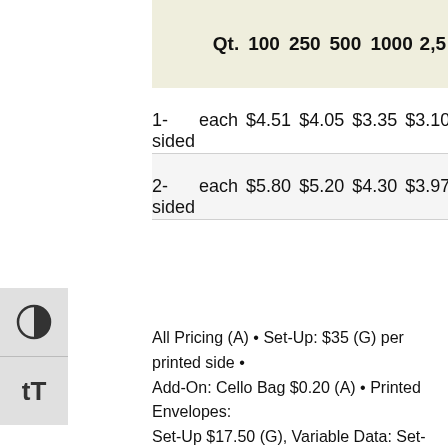|  | Qt. | 100 | 250 | 500 | 1000 | 2,5… |
| --- | --- | --- | --- | --- | --- | --- |
| 1-sided | each | $4.51 | $4.05 | $3.35 | $3.10 | $3.0… |
| 2-sided | each | $5.80 | $5.20 | $4.30 | $3.97 | $3.7… |
All Pricing (A) • Set-Up: $35 (G) per printed side • Add-On: Cello Bag $0.20 (A) • Printed Envelopes: Set-Up $17.50 (G), Variable Data: Set-Up $63 (G), Return Address in Black Ink $0.40 (A), Return Address and Variable Data Mailing Address in Bla…